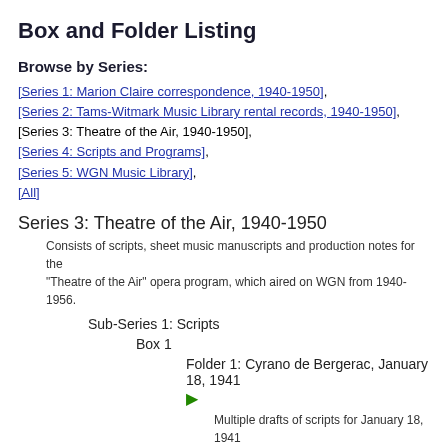Box and Folder Listing
Browse by Series:
[Series 1: Marion Claire correspondence, 1940-1950],
[Series 2: Tams-Witmark Music Library rental records, 1940-1950],
[Series 3: Theatre of the Air, 1940-1950],
[Series 4: Scripts and Programs],
[Series 5: WGN Music Library],
[All]
Series 3: Theatre of the Air, 1940-1950
Consists of scripts, sheet music manuscripts and production notes for the "Theatre of the Air" opera program, which aired on WGN from 1940-1956.
Sub-Series 1: Scripts
Box 1
Folder 1: Cyrano de Bergerac, January 18, 1941
Multiple drafts of scripts for January 18, 1941 broadcast of Cyrano de Bergerac, by Edmond Rostand. (Sheet music in sub-series 2).
Folder 2: The Secret of Suzanne, by Jack La